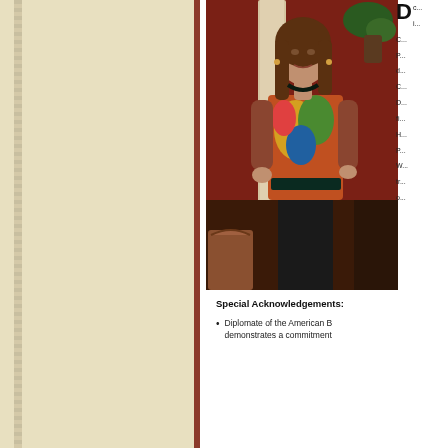[Figure (photo): Portrait photo of a woman wearing a colorful patterned jacket, standing in an elegant room with marble columns and dark red walls]
D... (partial text visible on right edge of page, content cut off)
Special Acknowledgements:
Diplomate of the American B... demonstrates a commitment...